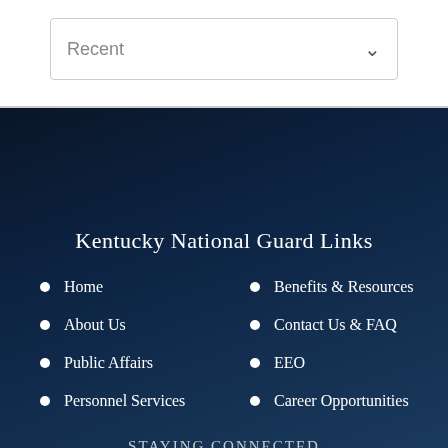Recent
Kentucky National Guard Links
Home
About Us
Public Affairs
Personnel Services
Benefits & Resources
Contact Us & FAQ
EEO
Career Opportunities
Staying Connected
[Figure (illustration): Social media icons: Facebook, YouTube, Twitter, Flickr, Instagram]
Hosted by Defense Media Activity - WEB.mil